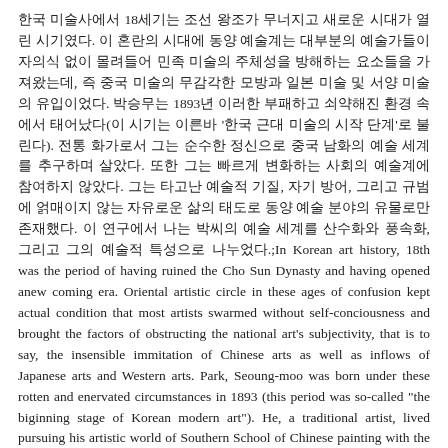한국 미술사에서 18세기는 조선 왕조가 무너지고 새로운 시대가 열린 시기였다. 이 혼란의 시대에 동양 예술계는 대부분의 예술가들이 자의식 없이 몰려들어 민족 미술의 주체성을 방해하는 요소들을 가져왔는데, 즉 중국 미술의 무감각한 모방과 일본 미술 및 서양 미술의 유입이었다. 박승무는 1893년 이러한 부패하고 쇠약해진 환경 속에서 태어났다(이 시기는 이른바 '한국 근대 미술의 시작 단계'로 불린다). 전통 화가로서 그는 순수한 정신으로 중국 남화의 예술 세계를 추구하며 살았다. 또한 그는 빠르게 변화하는 사회의 예술계에 참여하지 않았다. 그는 타고난 예술적 기질, 자기 방어, 그리고 규범에 얽매이지 않는 자유로운 삶의 태도로 동양 예술 분야의 유물로만 존재했다. 이 연구에서 나는 박씨의 예술 세계를 산수화와 풍속화, 그리고 그의 예술적 특성으로 나누었다.;In Korean art history, 18th was the period of having ruined the Cho Sun Dynasty and having opened anew coming era. Oriental artistic circle in these ages of confusion kept actual condition that most artists swarmed without self-conciousness and brought the factors of obstructing the national art's subjectivity, that is to say, the insensible immitation of Chinese arts as well as inflows of Japanese arts and Western arts. Park, Seoung-moo was born under these rotten and enervated circumstances in 1893 (this period was so-called "the biginning stage of Korean modern art"). He, a traditional artist, lived pursuing his artistic world of Southern School of Chinese painting with the pure spirit. In addition, he didn't participate in the artistic circle of speedily changing society. He only existed as a restic of Oriental artistic field with his born artistic temper, self-defence and free life attitude which was not bounded by a rule. In this research, I divided Park's artistic world into the landscape painting and the other parts of artistic and his artistic And the